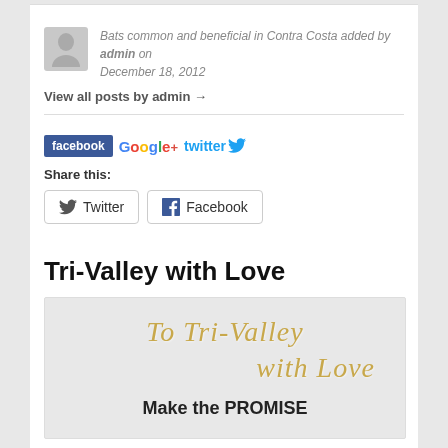Bats common and beneficial in Contra Costa added by admin on December 18, 2012
View all posts by admin →
[Figure (infographic): Social media logos: facebook (blue button), Google+ (multicolor text), twitter (blue text with bird icon)]
Share this:
Twitter  Facebook (share buttons)
Tri-Valley with Love
[Figure (illustration): Image with script text reading 'To Tri-Valley with Love' in gold italic cursive, and below 'Make the PROMISE' in bold black text, on a light floral background]